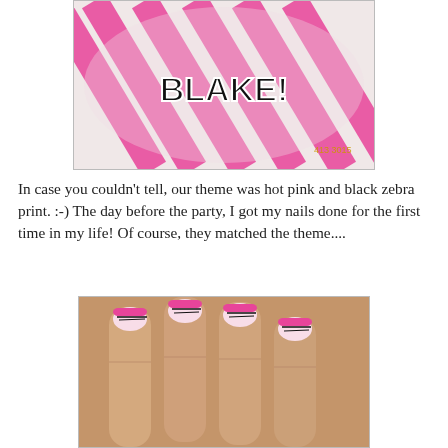[Figure (photo): A pink and white striped balloon with the text 'BLAKE!' written on it in black letters with decorative styling.]
In case you couldn't tell, our theme was hot pink and black zebra print. :-) The day before the party, I got my nails done for the first time in my life! Of course, they matched the theme....
[Figure (photo): Close-up photo of a hand showing nails with hot pink and black zebra print French manicure tips.]